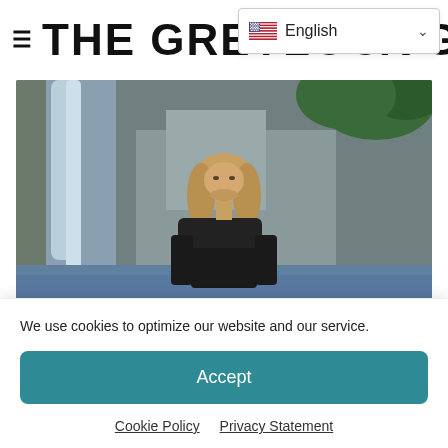≡ THE GREYLOCK GLASS
[Figure (photo): Young man with long blonde hair wearing a black t-shirt, standing in front of a rocky waterfall and pool of water. Outdoor nature setting.]
We use cookies to optimize our website and our service.
Accept
Cookie Policy   Privacy Statement